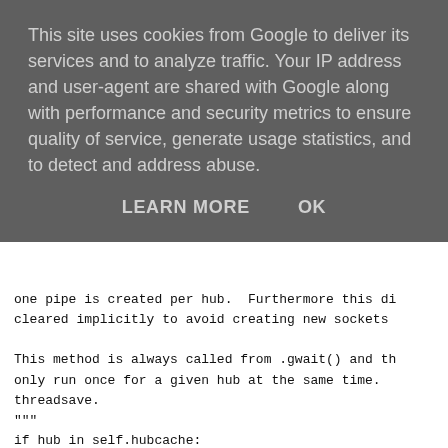This site uses cookies from Google to deliver its services and to analyze traffic. Your IP address and user-agent are shared with Google along with performance and security metrics to ensure quality of service, generate usage statistics, and to detect and address abuse.
LEARN MORE   OK
one pipe is created per hub.  Furthermore this di
cleared implicitly to avoid creating new sockets
This method is always called from .gwait() and th
only run once for a given hub at the same time.
threadsave.
"""
if hub in self.hubcache:
    return
def read_callback(fd):
    # This just reads the (bogus) data just writt
    # the os queues.  The only purpose was to kic
    # round it's loop which is now has.  The noti
    # scheduled by .notify() will now do it's wor
    os.read(fd, 512)
rfd, wfd = os.pipe()
listener = hub.add(eventlet.hubs.hub.READ, rfd, r